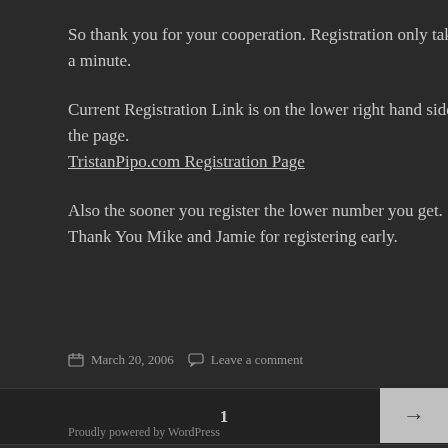So thank you for your cooperation. Registration only takes a minute.
Current Registration Link is on the lower right hand side of the page.
TristanPipo.com Registration Page
Also the sooner you register the lower number you get. Thank You Mike and Jamie for registering early.
March 20, 2006   Leave a comment
1  →
Proudly powered by WordPress